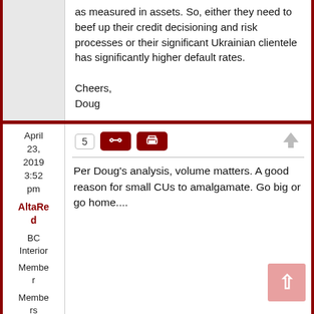as measured in assets. So, either they need to beef up their credit decisioning and risk processes or their significant Ukrainian clientele has significantly higher default rates.

Cheers,
Doug
April 23, 2019 3:52 pm
AltaRed
BC Interior
Member
Members
Forum Posts: 1869
5
Per Doug's analysis, volume matters. A good reason for small CUs to amalgamate. Go big or go home....